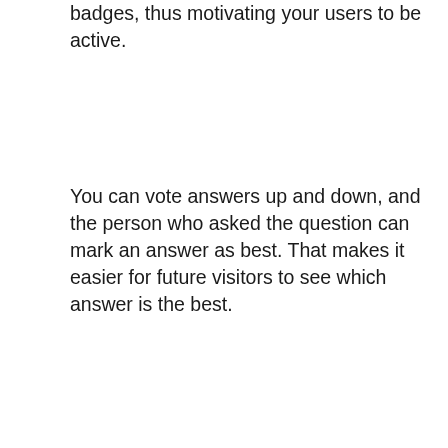People who post a lot of answers can earn badges, thus motivating your users to be active.
You can vote answers up and down, and the person who asked the question can mark an answer as best. That makes it easier for future visitors to see which answer is the best.
[Figure (screenshot): Two red buttons side by side: 'More Info / Download' and 'Demo']
Ask Me
[Figure (screenshot): Screenshot of the Ask Me WordPress theme showing a dark navigation bar with the ASKme logo, menu items including Home, Ask Question, Questions, User, Page template, Blog, Pages, Contact Us, and a red hero section with 'Welcome to Ask me' text.]